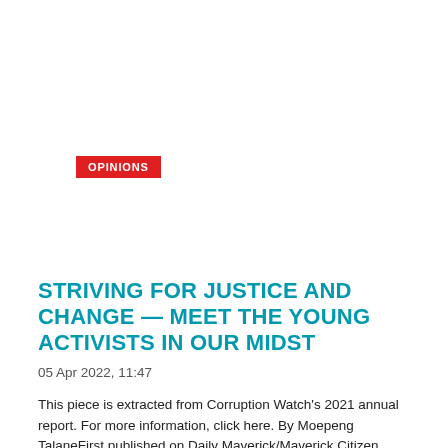OPINIONS
STRIVING FOR JUSTICE AND CHANGE — MEET THE YOUNG ACTIVISTS IN OUR MIDST
05 Apr 2022, 11:47
This piece is extracted from Corruption Watch's 2021 annual report. For more information, click here. By Moepeng TalaneFirst published on Daily Maverick/Maverick Citizen